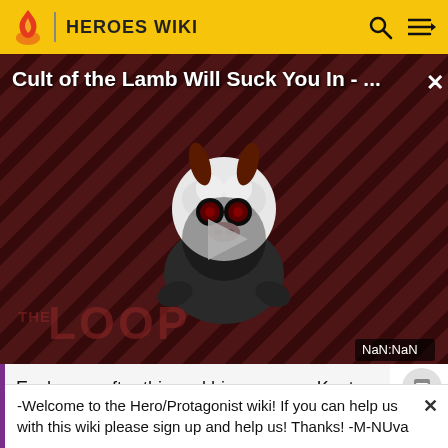HEROES WIKI
[Figure (screenshot): Video thumbnail for 'Cult of the Lamb Will Suck You In - ...' showing a cartoon lamb character with red eyes on a dark diagonal striped background with a play button overlay and 'THE LOOP' watermark. Time display shows NaN:NaN.]
Each year after this and his recovery, Kouta would retu to the spot he met his friend on the last day of the
-Welcome to the Hero/Protagonist wiki! If you can help us with this wiki please sign up and help us! Thanks! -M-NUva